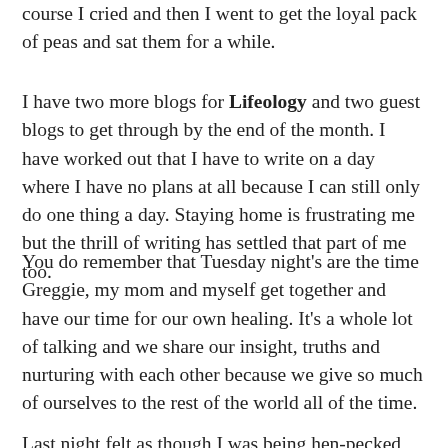course I cried and then I went to get the loyal pack of peas and sat them for a while.
I have two more blogs for Lifeology and two guest blogs to get through by the end of the month. I have worked out that I have to write on a day where I have no plans at all because I can still only do one thing a day. Staying home is frustrating me but the thrill of writing has settled that part of me too.
You do remember that Tuesday night's are the time Greggie, my mom and myself get together and have our time for our own healing. It's a whole lot of talking and we share our insight, truths and nurturing with each other because we give so much of ourselves to the rest of the world all of the time.
Last night felt as though I was being hen-pecked